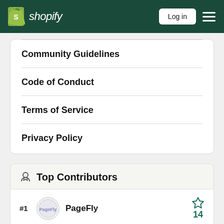Shopify — Log in
Community Guidelines
Code of Conduct
Terms of Service
Privacy Policy
Top Contributors
#1 PageFly — 14